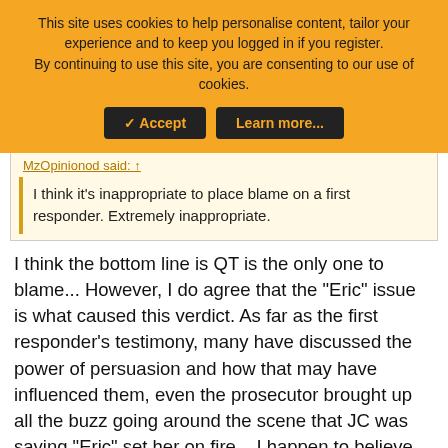This site uses cookies to help personalise content, tailor your experience and to keep you logged in if you register. By continuing to use this site, you are consenting to our use of cookies.
✓ Accept | Learn more...
MzOpinionod said: ↑
I think it's inappropriate to place blame on a first responder. Extremely inappropriate.
I think the bottom line is QT is the only one to blame... However, I do agree that the "Eric" issue is what caused this verdict. As far as the first responder's testimony, many have discussed the power of persuasion and how that may have influenced them, even the prosecutor brought up all the buzz going around the scene that JC was saying "Eric" set her on fire... I happen to believe this could've affected what they heard, or what they thought they were hearing. I don't think that's blaming them.